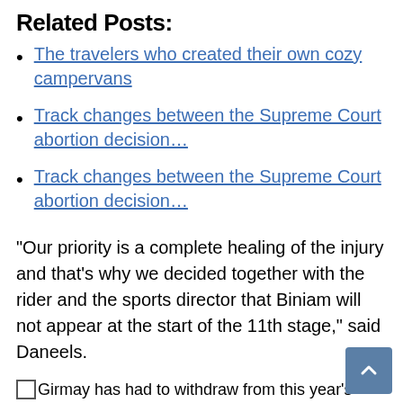Related Posts:
The travelers who created their own cozy campervans
Track changes between the Supreme Court abortion decision…
Track changes between the Supreme Court abortion decision…
“Our priority is a complete healing of the injury and that’s why we decided together with the rider and the sports director that Biniam will not appear at the start of the 11th stage,” said Daneels.
Girmay has had to withdraw from this year&#39;s Giro d&#39;Italia.